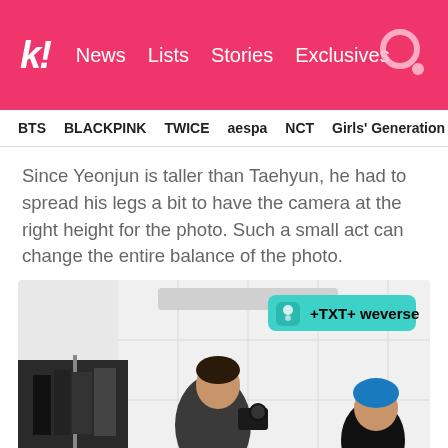k! News  Lists  Stories  Exclusives
BTS  BLACKPINK  TWICE  aespa  NCT  Girls' Generation
Since Yeonjun is taller than Taehyun, he had to spread his legs a bit to have the camera at the right height for the photo. Such a small act can change the entire balance of the photo.
[Figure (photo): Two people in a white room: one with dark hair holding a camera pointed at another person with blue hair leaning against a white brick wall. A clothing rack with dark garments is visible on the left. A '+TXT+ weverse' badge appears in the top right corner of the image.]